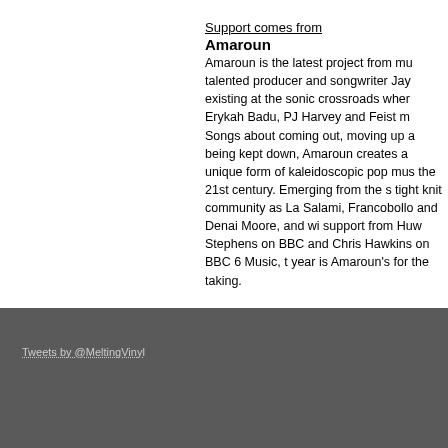Support comes from
Amaroun
Amaroun is the latest project from mu talented producer and songwriter Jay existing at the sonic crossroads wher Erykah Badu, PJ Harvey and Feist m Songs about coming out, moving up a being kept down, Amaroun creates a unique form of kaleidoscopic pop mus the 21st century. Emerging from the s tight knit community as La Salami, Francobollo and Denai Moore, and wi support from Huw Stephens on BBC and Chris Hawkins on BBC 6 Music, t year is Amaroun's for the taking.
Tweets by @MeltingVinyl